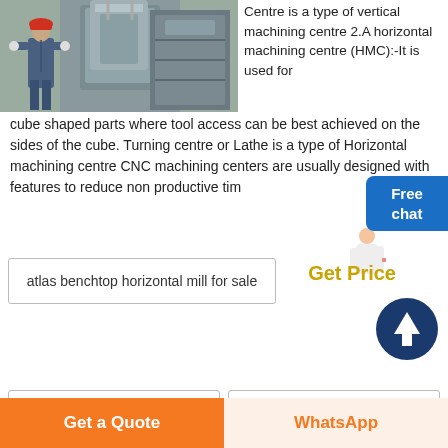[Figure (photo): Worker in red hard hat and blue coveralls standing next to large industrial machining equipment in a factory setting]
Centre is a type of vertical machining centre 2.A horizontal machining centre (HMC):-It is used for cube shaped parts where tool access can be best achieved on the sides of the cube. Turning centre or Lathe is a type of Horizontal machining centre CNC machining centers are usually designed with features to reduce non productive tim
atlas benchtop horizontal mill for sale
mills installation hours
hot sale stainless steel food grinding mill food mill ball mill
Get a Quote
WhatsApp